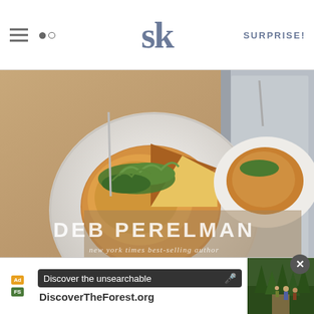SK logo header with hamburger menu, search icon, and SURPRISE! link
[Figure (photo): Book cover photo showing a frittata or potato dish on a white plate with greens on top, with 'DEB PERELMAN new york times best-selling author' text overlay on the book cover]
AS AN AMAZON ASSOCIATE I EARN FROM QUALIFYING PURCHASES.
©2009–2022 SMITTEN KITCHEN. PROUDLY POWERED BY WORDPRESS. HOSTED BY PRESSABLE.
[Figure (screenshot): Ad banner: Discover the unsearchable - DiscoverTheForest.org with forest photo]